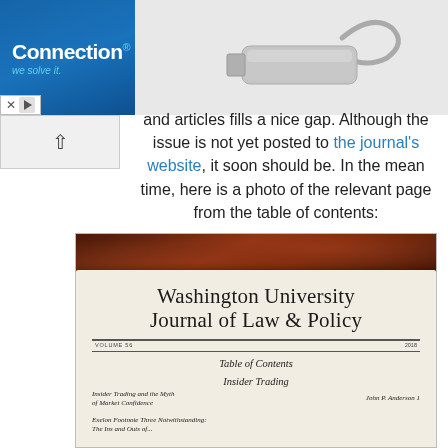[Figure (photo): Advertisement banner: Connection 'we solve it' logo on blue background with a silver USB device product image on grey background. Includes close (X) and play button controls.]
and articles fills a nice gap. Although the issue is not yet posted to the journal's website, it soon should be. In the mean time, here is a photo of the relevant page from the table of contents:
[Figure (photo): Photo of the Washington University Journal of Law & Policy journal cover/table of contents page showing: Volume 56, 2018, Table of Contents, Insider Trading section, entries including 'Insider Trading and the Myth of Market Confidence' by John P. Anderson 1, and 'Exelon Footnote Three Notwithstanding:' entry partially visible.]